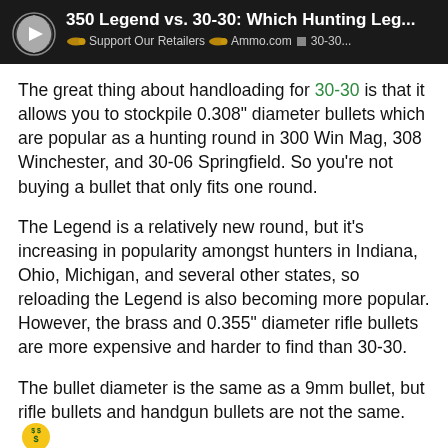350 Legend vs. 30-30: Which Hunting Leg... | Support Our Retailers | Ammo.com | 30-30...
The great thing about handloading for 30-30 is that it allows you to stockpile 0.308" diameter bullets which are popular as a hunting round in 300 Win Mag, 308 Winchester, and 30-06 Springfield. So you're not buying a bullet that only fits one round.
The Legend is a relatively new round, but it's increasing in popularity amongst hunters in Indiana, Ohio, Michigan, and several other states, so reloading the Legend is also becoming more popular. However, the brass and 0.355" diameter rifle bullets are more expensive and harder to find than 30-30.
The bullet diameter is the same as a 9mm bullet, but rifle bullets and handgun bullets are not the same.
FULL30